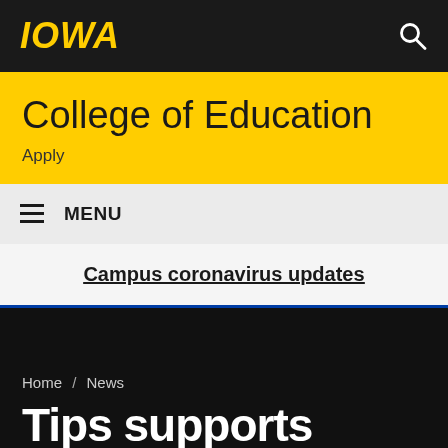IOWA
College of Education
Apply
≡ MENU
Campus coronavirus updates
Home / News
Tips supports mental